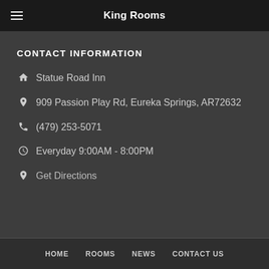King Rooms
CONTACT INFORMATION
Statue Road Inn
909 Passion Play Rd, Eureka Springs, AR72632
(479) 253-5071
Everyday 9:00AM - 8:00PM
Get Directions
HOME  ROOMS  NEWS  CONTACT US